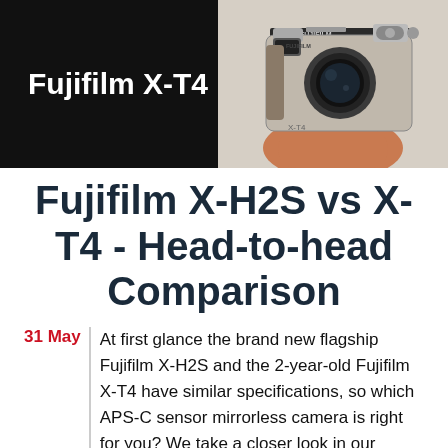[Figure (photo): Hero banner showing 'Fujifilm X-T4' text in white on a black background on the left, and a photo of a hand holding a Fujifilm X-T4 mirrorless camera body on the right]
Fujifilm X-H2S vs X-T4 - Head-to-head Comparison
31 May | At first glance the brand new flagship Fujifilm X-H2S and the 2-year-old Fujifilm X-T4 have similar specifications, so which APS-C sensor mirrorless camera is right for you? We take a closer look in our detailed head-to-head